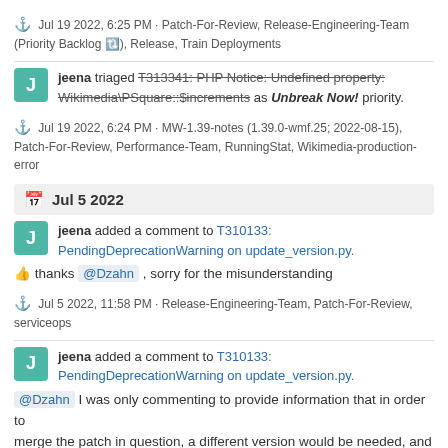⚓ Jul 19 2022, 6:25 PM · Patch-For-Review, Release-Engineering-Team (Priority Backlog 🔃), Release, Train Deployments
jeena triaged T313341: PHP Notice: Undefined property: Wikimedia\PSquare::$increments as Unbreak Now! priority.
⚓ Jul 19 2022, 6:24 PM · MW-1.39-notes (1.39.0-wmf.25; 2022-08-15), Patch-For-Review, Performance-Team, RunningStat, Wikimedia-production-error
Jul 5 2022
jeena added a comment to T310133: PendingDeprecationWarning on update_version.py.
👍 thanks @Dzahn , sorry for the misunderstanding
⚓ Jul 5 2022, 11:58 PM · Release-Engineering-Team, Patch-For-Review, serviceops
jeena added a comment to T310133: PendingDeprecationWarning on update_version.py.
@Dzahn I was only commenting to provide information that in order to merge the patch in question, a different version would be needed, and